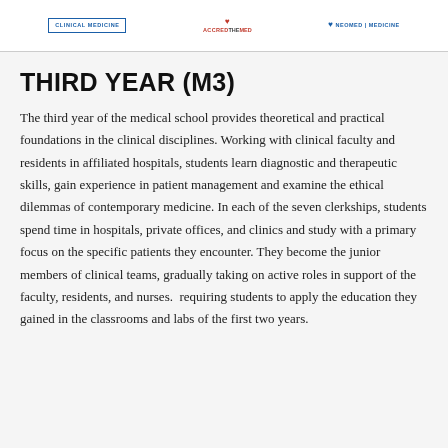CLINICAL MEDICINE | ACCREDTHEMED | NEOMED MEDICINE
THIRD YEAR (M3)
The third year of the medical school provides theoretical and practical foundations in the clinical disciplines. Working with clinical faculty and residents in affiliated hospitals, students learn diagnostic and therapeutic skills, gain experience in patient management and examine the ethical dilemmas of contemporary medicine. In each of the seven clerkships, students spend time in hospitals, private offices, and clinics and study with a primary focus on the specific patients they encounter. They become the junior members of clinical teams, gradually taking on active roles in support of the faculty, residents, and nurses.  requiring students to apply the education they gained in the classrooms and labs of the first two years.